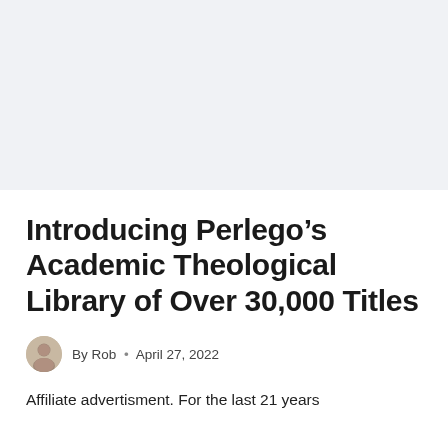Introducing Perlego’s Academic Theological Library of Over 30,000 Titles
By Rob • April 27, 2022
Affiliate advertisment. For the last 21 years